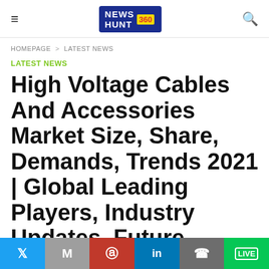NEWS HUNT 360 [logo]
HOMEPAGE > LATEST NEWS
LATEST NEWS
High Voltage Cables And Accessories Market Size, Share, Demands, Trends 2021 | Global Leading Players, Industry Updates, Future Growth, Business
Twitter | Gmail | Pinterest | LinkedIn | WhatsApp | Line [social share bar]